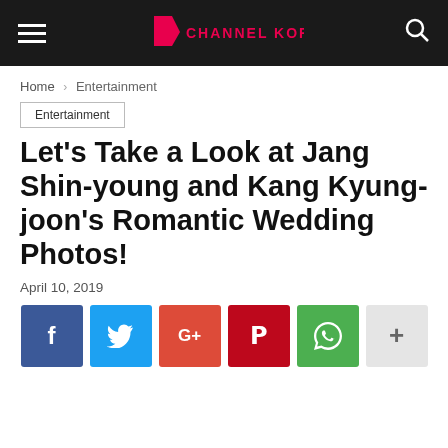Channel Korea
Home › Entertainment
Entertainment
Let's Take a Look at Jang Shin-young and Kang Kyung-joon's Romantic Wedding Photos!
April 10, 2019
[Figure (infographic): Social sharing buttons: Facebook, Twitter, Google+, Pinterest, WhatsApp, and More (+)]